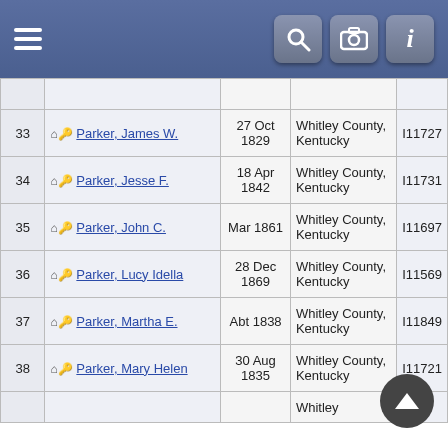Navigation header with hamburger menu, search, camera, and info icons
| # | Name | Birth Date | Birthplace | ID |
| --- | --- | --- | --- | --- |
| 33 | Parker, James W. | 27 Oct 1829 | Whitley County, Kentucky | I11727 |
| 34 | Parker, Jesse F. | 18 Apr 1842 | Whitley County, Kentucky | I11731 |
| 35 | Parker, John C. | Mar 1861 | Whitley County, Kentucky | I11697 |
| 36 | Parker, Lucy Idella | 28 Dec 1869 | Whitley County, Kentucky | I11569 |
| 37 | Parker, Martha E. | Abt 1838 | Whitley County, Kentucky | I11849 |
| 38 | Parker, Mary Helen | 30 Aug 1835 | Whitley County, Kentucky | I11721 |
| 39 |  |  | Whitley |  |